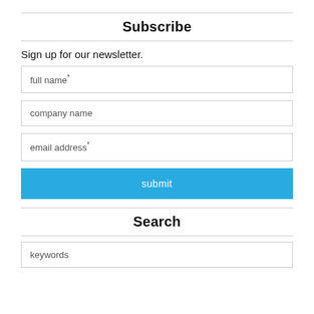Subscribe
Sign up for our newsletter.
full name*
company name
email address*
submit
Search
keywords